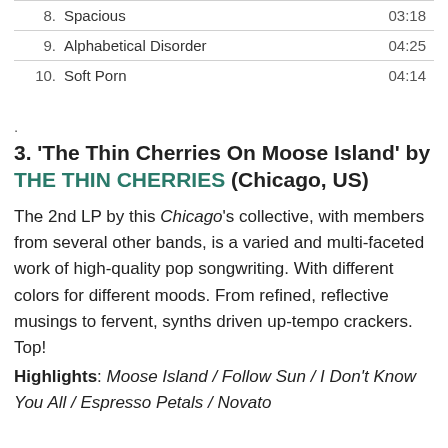| # | Track | Duration |
| --- | --- | --- |
| 8. | Spacious | 03:18 |
| 9. | Alphabetical Disorder | 04:25 |
| 10. | Soft Porn | 04:14 |
.
3. 'The Thin Cherries On Moose Island' by THE THIN CHERRIES (Chicago, US)
The 2nd LP by this Chicago's collective, with members from several other bands, is a varied and multi-faceted work of high-quality pop songwriting. With different colors for different moods. From refined, reflective musings to fervent, synths driven up-tempo crackers. Top! Highlights: Moose Island / Follow Sun / I Don't Know You All / Espresso Petals / Novato